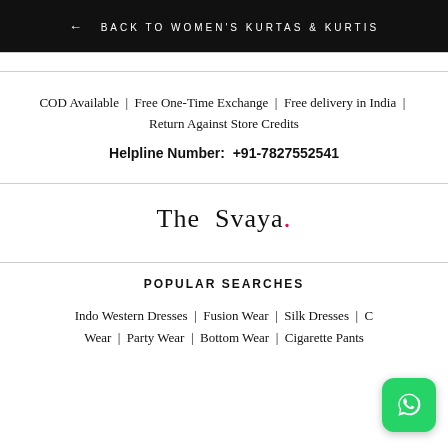← BACK TO WOMEN'S KURTAS & KURTIS
COD Available | Free One-Time Exchange | Free delivery in India | Return Against Store Credits
Helpline Number: +91-7827552541
[Figure (logo): The Svaya brand logo with a red dot after the text]
POPULAR SEARCHES
Indo Western Dresses | Fusion Wear | Silk Dresses | C... Wear | Party Wear | Bottom Wear | Cigarette Pants